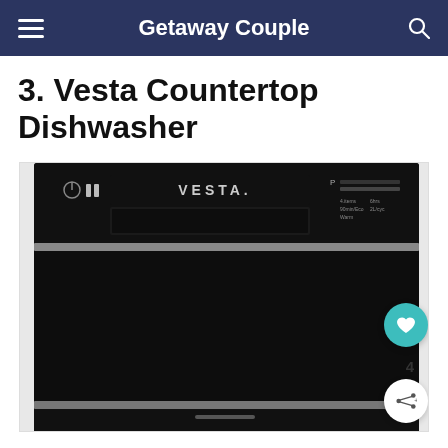Getaway Couple
3. Vesta Countertop Dishwasher
[Figure (photo): Black Vesta countertop dishwasher with control panel visible at top showing VESTA branding, power button, and program selector.]